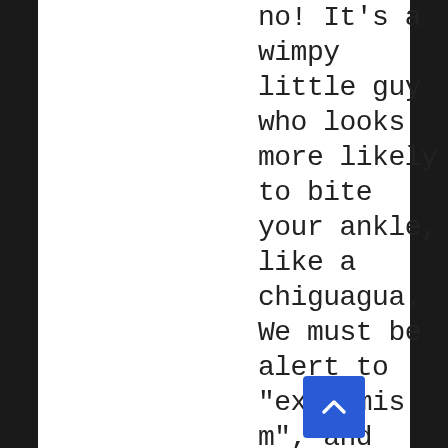no! It's a wimpy little guy who looks more likely to bite your ankle, like a chiguagua. We must be alert to "extremism", and